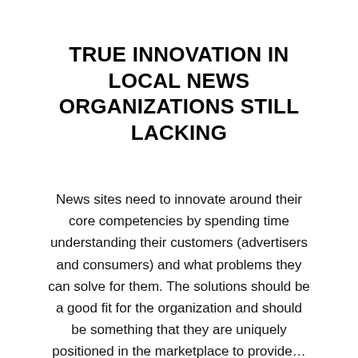TRUE INNOVATION IN LOCAL NEWS ORGANIZATIONS STILL LACKING
News sites need to innovate around their core competencies by spending time understanding their customers (advertisers and consumers) and what problems they can solve for them. The solutions should be a good fit for the organization and should be something that they are uniquely positioned in the marketplace to provide…